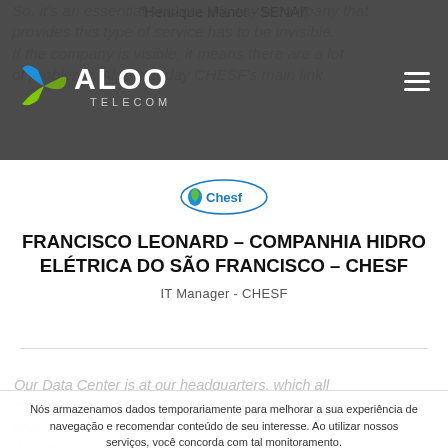So, it's an essential service. We say a company that provides this type of service has to be invisible. If the company is visible, it means there are a lot of problems. Aloo is today CHESF's main link.
[Figure (logo): Aloo Telecom logo with blue and green arrow graphic and white ALOO TELECOM text on dark background]
[Figure (logo): Chesf company logo - oval shape with blue and green water drop, Chesf text]
FRANCISCO LEONARD – COMPANHIA HIDRO ELÉTRICA DO SÃO FRANCISCO – CHESF
IT Manager - CHESF
“Henrique Manet - SENAI”
Our Data Center is at our headquarters, which all the units are connected to, and the three largest units use Aloo's fiber optic link. We have been with Aloo for almost a year and never had any need to request support. The previous service we used had lots of problems with loss of frequency and
Nós armazenamos dados temporariamente para melhorar a sua experiência de navegação e recomendar conteúdo de seu interesse. Ao utilizar nossos serviços, você concorda com tal monitoramento.
Concordar   Política de Privacidade